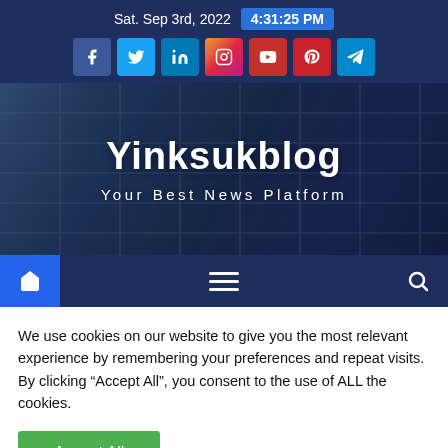Sat. Sep 3rd, 2022  4:31:25 PM
[Figure (other): Social media icons row: Facebook, Twitter, LinkedIn, Instagram, YouTube, Pinterest, Telegram]
Yinksukblog
Your Best News Platform
[Figure (other): Navigation bar with home icon, hamburger menu, and search icon]
We use cookies on our website to give you the most relevant experience by remembering your preferences and repeat visits. By clicking “Accept All”, you consent to the use of ALL the cookies.
Accept All